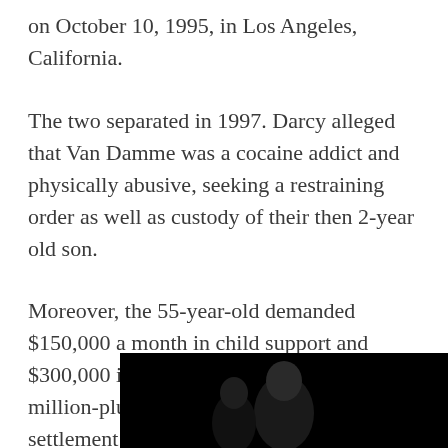on October 10, 1995, in Los Angeles, California.
The two separated in 1997. Darcy alleged that Van Damme was a cocaine addict and physically abusive, seeking a restraining order as well as custody of their then 2-year old son.
Moreover, the 55-year-old demanded $150,000 a month in child support and $300,000 in legal fees, receiving nearly $10 million-plus child support during the settlement.
[Figure (photo): A photo of a person against a dark/black background, partially visible at the bottom of the page.]